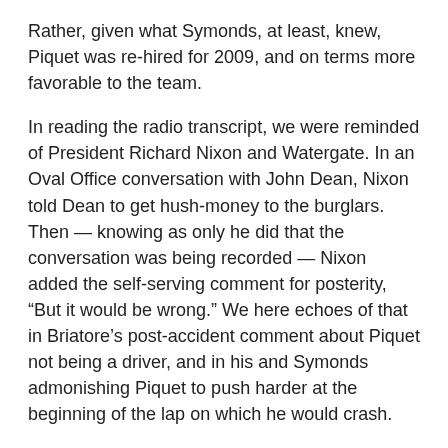Rather, given what Symonds, at least, knew, Piquet was re-hired for 2009, and on terms more favorable to the team.
In reading the radio transcript, we were reminded of President Richard Nixon and Watergate. In an Oval Office conversation with John Dean, Nixon told Dean to get hush-money to the burglars. Then — knowing as only he did that the conversation was being recorded — Nixon added the self-serving comment for posterity, “But it would be wrong.” We here echoes of that in Briatore’s post-accident comment about Piquet not being a driver, and in his and Symonds admonishing Piquet to push harder at the beginning of the lap on which he would crash.
The radio comments can, however, be viewed two ways, but given the questions to which Symonds refused answers, and the answers he did provide, we strongly suspect that Symonds was attempting to avoid the additional burden of lying while shifting the blame for the crash to Piquet and shielding Briatore. One of the most significant statements made in defense has potentially ominous implications. Symonds told the Belgian stewards that he had not lied, but